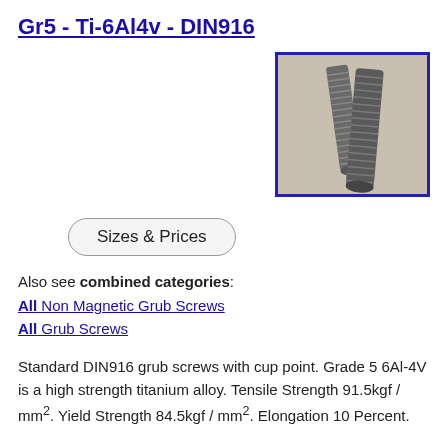Gr5 - Ti-6Al4v - DIN916
[Figure (photo): Photo of titanium DIN916 grub screws (cup point set screws), grade 5, showing two screws with threaded bodies]
Sizes & Prices
Also see combined categories:
All Non Magnetic Grub Screws
All Grub Screws
Standard DIN916 grub screws with cup point. Grade 5 6Al-4V is a high strength titanium alloy. Tensile Strength 91.5kgf / mm². Yield Strength 84.5kgf / mm². Elongation 10 Percent.